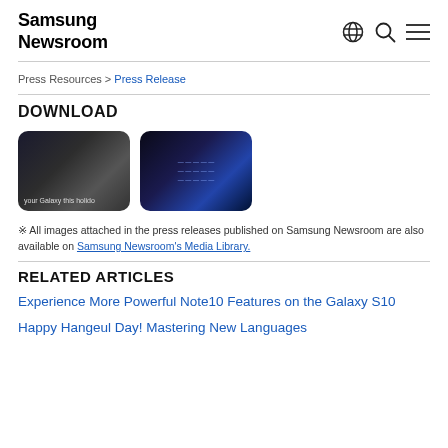Samsung Newsroom
Press Resources > Press Release
DOWNLOAD
[Figure (photo): Two video thumbnails for download: one showing a person with a Galaxy phone during holidays, another showing blue text on a dark background.]
※ All images attached in the press releases published on Samsung Newsroom are also available on Samsung Newsroom's Media Library.
RELATED ARTICLES
Experience More Powerful Note10 Features on the Galaxy S10
Happy Hangeul Day! Mastering New Languages